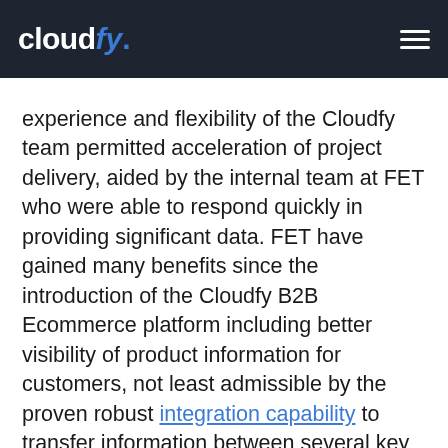cloudfy.
experience and flexibility of the Cloudfy team permitted acceleration of project delivery, aided by the internal team at FET who were able to respond quickly in providing significant data.  FET have gained many benefits since the introduction of the Cloudfy B2B Ecommerce platform including better visibility of product information for customers, not least admissible by the proven robust integration capability to transfer information between several key business applications.
Find out for yourself how you can get a